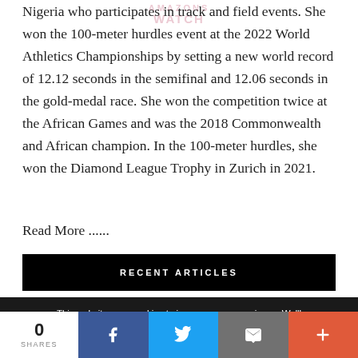AMAZONS WATCH
Nigeria who participates in track and field events. She won the 100-meter hurdles event at the 2022 World Athletics Championships by setting a new world record of 12.12 seconds in the semifinal and 12.06 seconds in the gold-medal race. She won the competition twice at the African Games and was the 2018 Commonwealth and African champion. In the 100-meter hurdles, she won the Diamond League Trophy in Zurich in 2021.
Read More ......
RECENT ARTICLES
This website uses cookies to improve your experience. We'll assume you're ok with this, but you can opt-out if you wish.
0 SHARES